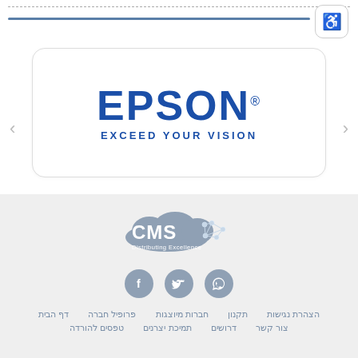[Figure (logo): Epson logo with text EPSON and tagline EXCEED YOUR VISION in blue, inside a white rounded card]
[Figure (logo): CMS Distributing Excellence cloud logo in blue-grey tones]
[Figure (infographic): Three social media icon circles: Facebook, Twitter, WhatsApp in grey-blue]
דף הבית  פרופיל חברה  חברות מיוצגות  תקנון  הצהרת נגישות
טפסים להורדה  תמיכת יצרנים  דרושים  צור קשר